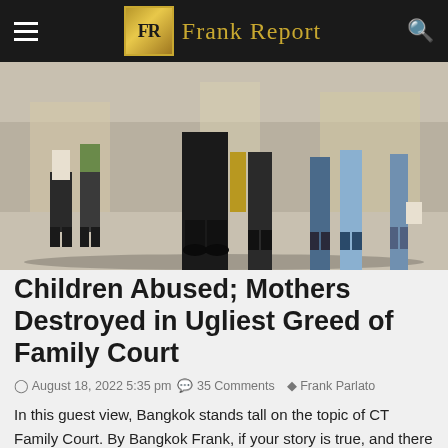FR Frank Report
[Figure (photo): Street scene showing people walking on a busy sidewalk, lower halves of pedestrians visible, one person in dark suit prominent in center.]
Children Abused; Mothers Destroyed in Ugliest Greed of Family Court
August 18, 2022 5:35 pm  35 Comments  Frank Parlato
In this guest view, Bangkok stands tall on the topic of CT Family Court. By Bangkok Frank, if your story is true, and there is an actual conspiracy among...